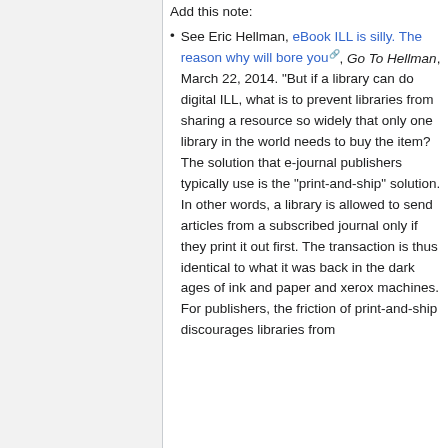See Eric Hellman, eBook ILL is silly. The reason why will bore you, Go To Hellman, March 22, 2014. "But if a library can do digital ILL, what is to prevent libraries from sharing a resource so widely that only one library in the world needs to buy the item? The solution that e-journal publishers typically use is the "print-and-ship" solution. In other words, a library is allowed to send articles from a subscribed journal only if they print it out first. The transaction is thus identical to what it was back in the dark ages of ink and paper and xerox machines. For publishers, the friction of print-and-ship discourages libraries from